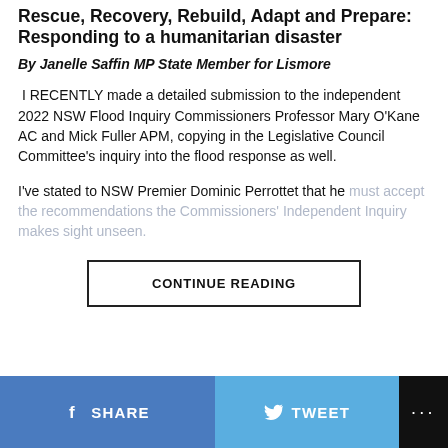Rescue, Recovery, Rebuild, Adapt and Prepare: Responding to a humanitarian disaster
By Janelle Saffin MP State Member for Lismore
I RECENTLY made a detailed submission to the independent 2022 NSW Flood Inquiry Commissioners Professor Mary O'Kane AC and Mick Fuller APM, copying in the Legislative Council Committee's inquiry into the flood response as well.
I've stated to NSW Premier Dominic Perrottet that he must accept the recommendations the Commissioners' Independent Inquiry makes sight unseen.
CONTINUE READING
SHARE  TWEET  ...